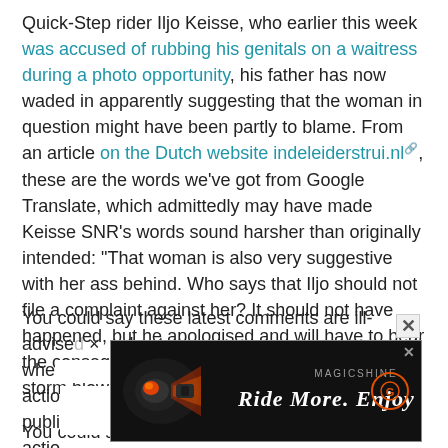Quick-Step rider Iljo Keisse, who earlier this week was accused of rubbing his genitals on a waitress during a photo opportunity, his father has now waded in apparently suggesting that the woman in question might have been partly to blame. From an article on the Dutch website indeleiderstrui.nl, these are the words we've got from Google Translate, which admittedly may have made Keisse SNR's words sound harsher than originally intended: "That woman is also very suggestive with her ass behind. Who says that Iljo should not file a complaint against her? It should not have happened, but he apologised and will have to bear the consequences. Now we are waiting until the storm blows."
You could say these latest comments are ill-advised at best when it comes to Iljo's already complicated fight to keep actions from becoming... public scrutiny of Keisse's actions...
[Figure (other): Advertisement banner for Magicshine 'Ride More. Enjoy More' with a bicycle light image on a dark background and a circular logo on the right. Has a close (X) button.]